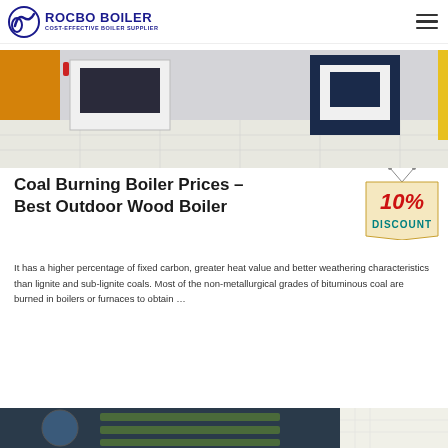ROCBO BOILER — COST-EFFECTIVE BOILER SUPPLIER
[Figure (photo): Industrial boiler equipment in a tiled room, white and dark blue units visible]
Coal Burning Boiler Prices – Best Outdoor Wood Boiler
[Figure (infographic): 10% DISCOUNT badge/tag graphic in red and teal on a tan background]
It has a higher percentage of fixed carbon, greater heat value and better weathering characteristics than lignite and sub-lignite coals. Most of the non-metallurgical grades of bituminous coal are burned in boilers or furnaces to obtain …
[Figure (photo): Industrial boiler or pipe system visible at bottom of page]